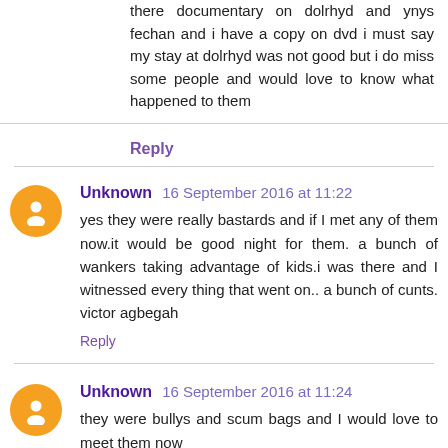there documentary on dolrhyd and ynys fechan and i have a copy on dvd i must say my stay at dolrhyd was not good but i do miss some people and would love to know what happened to them
Reply
Unknown 16 September 2016 at 11:22
yes they were really bastards and if I met any of them now.it would be good night for them. a bunch of wankers taking advantage of kids.i was there and I witnessed every thing that went on.. a bunch of cunts. victor agbegah
Reply
Unknown 16 September 2016 at 11:24
they were bullys and scum bags and I would love to meet them now
Reply